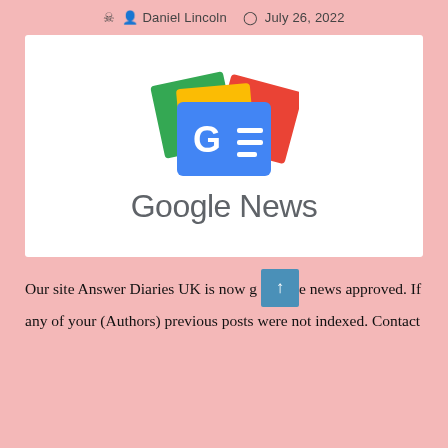Daniel Lincoln   July 26, 2022
[Figure (logo): Google News logo: colorful stacked card icon (green, yellow, red) with blue square showing 'GE=' design, and text 'Google News' below in gray sans-serif]
Our site Answer Diaries UK is now g↑e news approved. If any of your (Authors) previous posts were not indexed. Contact